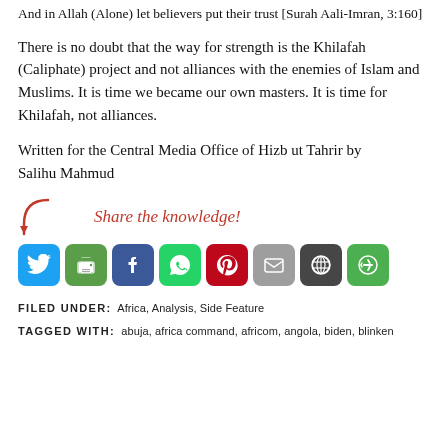And in Allah (Alone) let believers put their trust [Surah Aali-Imran, 3:160]
There is no doubt that the way for strength is the Khilafah (Caliphate) project and not alliances with the enemies of Islam and Muslims. It is time we became our own masters. It is time for Khilafah, not alliances.
Written for the Central Media Office of Hizb ut Tahrir by
Salihu Mahmud
[Figure (infographic): Share the knowledge! social sharing buttons: Twitter, Print, Facebook, WhatsApp, Pinterest, Email, WordPress, More]
FILED UNDER: Africa, Analysis, Side Feature
TAGGED WITH: abuja, africa command, africom, angola, biden, blinken